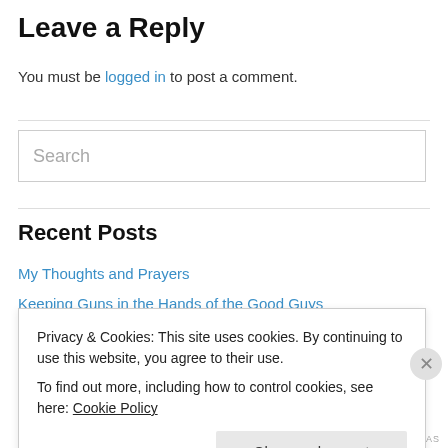Leave a Reply
You must be logged in to post a comment.
Search
Recent Posts
My Thoughts and Prayers
Keeping Guns in the Hands of the Good Guys
Privacy & Cookies: This site uses cookies. By continuing to use this website, you agree to their use.
To find out more, including how to control cookies, see here: Cookie Policy
Close and accept